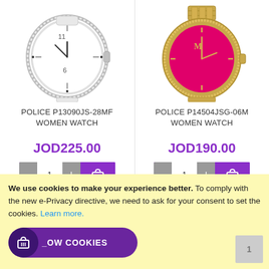[Figure (photo): White police watch with crystal bezel - POLICE P13090JS-28MF]
[Figure (photo): Gold police watch with pink/red face and crystal bezel - POLICE P14504JSG-06M]
POLICE P13090JS-28MF WOMEN WATCH
POLICE P14504JSG-06M WOMEN WATCH
JOD225.00
JOD190.00
[Figure (photo): Partial bottom of a dark watch strap]
[Figure (photo): Partial bottom of a brown watch strap]
We use cookies to make your experience better. To comply with the new e-Privacy directive, we need to ask for your consent to set the cookies. Learn more.